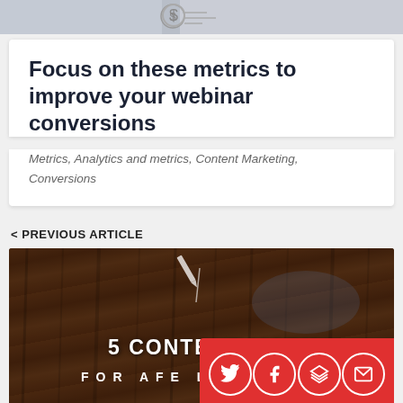[Figure (photo): Top image strip showing a partial photo with a dollar sign icon]
Focus on these metrics to improve your webinar conversions
Metrics, Analytics and metrics, Content Marketing, Conversions
< PREVIOUS ARTICLE
[Figure (photo): Wooden background image with text '5 CONTENT MARKETING...' and 'FOR AFFILIATE...' with a red social media share bar showing Twitter, Facebook, Buffer, and Email icons]